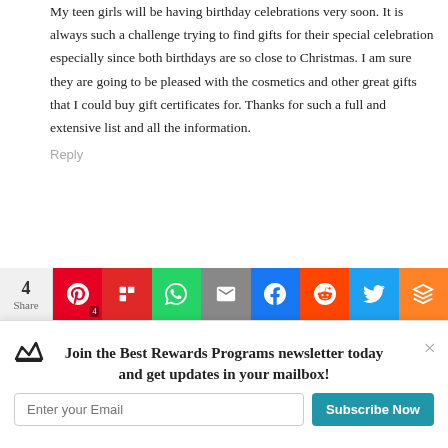My teen girls will be having birthday celebrations very soon. It is always such a challenge trying to find gifts for their special celebration especially since both birthdays are so close to Christmas. I am sure they are going to be pleased with the cosmetics and other great gifts that I could buy gift certificates for. Thanks for such a full and extensive list and all the information.
Reply
Alyce  November 4, 2021 at 10:27 am
Hi JJ, that is a very sweet thought! Be sure to let your teens know that there are free birthday gifts that they can sign up for themselves too. Savings from a birthday offer will help the birthday gift certificates stretch even farther!
4 Share  Pinterest 4  Flipboard  WhatsApp  Email  Facebook  Reddit  Twitter  Mix
Join the Best Rewards Programs newsletter today and get updates in your mailbox!
Enter your Email  Subscribe Now